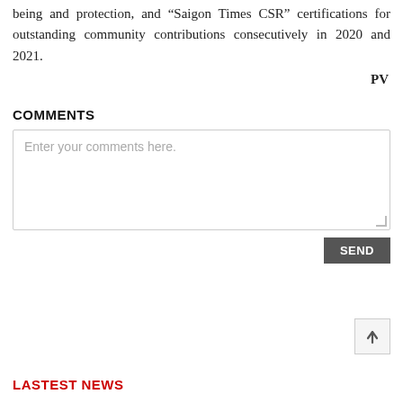being and protection, and “Saigon Times CSR” certifications for outstanding community contributions consecutively in 2020 and 2021.
PV
COMMENTS
Enter your comments here.
SEND
LASTEST NEWS